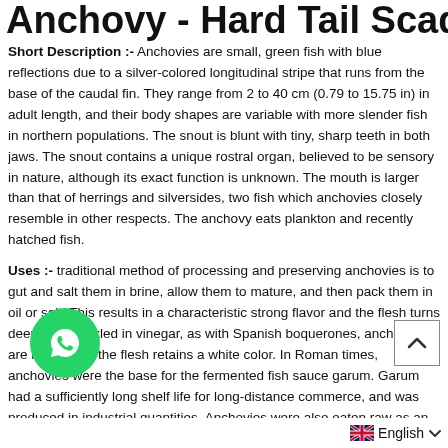Anchovy - Hard Tail Scad
Short Description :-  Anchovies are small, green fish with blue reflections due to a silver-colored longitudinal stripe that runs from the base of the caudal fin. They range from 2 to 40 cm (0.79 to 15.75 in) in adult length, and their body shapes are variable with more slender fish in northern populations. The snout is blunt with tiny, sharp teeth in both jaws. The snout contains a unique rostral organ, believed to be sensory in nature, although its exact function is unknown. The mouth is larger than that of herrings and silversides, two fish which anchovies closely resemble in other respects. The anchovy eats plankton and recently hatched fish.
Uses :-  traditional method of processing and preserving anchovies is to gut and salt them in brine, allow them to mature, and then pack them in oil or salt. This results in a characteristic strong flavor and the flesh turns deep grey. Pickled in vinegar, as with Spanish boquerones, anchovies are milder and the flesh retains a white color. In Roman times, anchovies were the base for the fermented fish sauce garum. Garum had a sufficiently long shelf life for long-distance commerce, and was produced in industrial quantities. Anchovies were also eaten raw as an aphrodisiac. Today, they are used in small quantities to flavor many dishes. Because of the strong flavor, they are a key ingredient in several sauces and condiments, including Worcestershire sauce, Caesar salad dressing, remoulade, Gentleman's Relish many fish sauces, and in some versions of Café de Paris butte
[Figure (other): WhatsApp contact button (green circle with phone icon)]
[Figure (other): Scroll-to-top button (chevron up arrow in bordered box)]
[Figure (other): UK flag icon with English language selector]